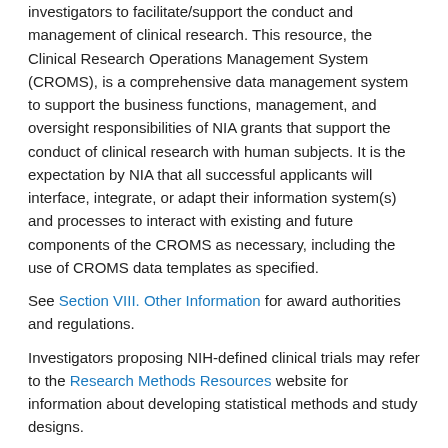investigators to facilitate/support the conduct and management of clinical research. This resource, the Clinical Research Operations Management System (CROMS), is a comprehensive data management system to support the business functions, management, and oversight responsibilities of NIA grants that support the conduct of clinical research with human subjects. It is the expectation by NIA that all successful applicants will interface, integrate, or adapt their information system(s) and processes to interact with existing and future components of the CROMS as necessary, including the use of CROMS data templates as specified.
See Section VIII. Other Information for award authorities and regulations.
Investigators proposing NIH-defined clinical trials may refer to the Research Methods Resources website for information about developing statistical methods and study designs.
Section II. Award Information
Funding Instrument
Grant: A support mechanism providing money, property, or both to an eligible entity to carry out an approved project or activity.